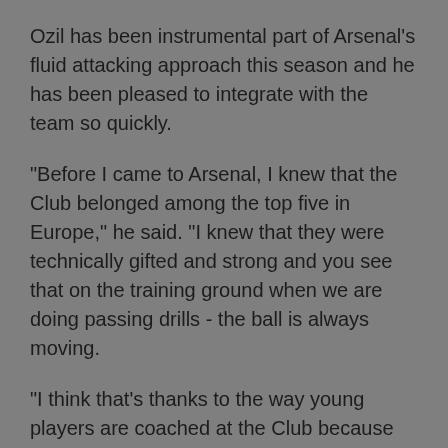Ozil has been instrumental part of Arsenal's fluid attacking approach this season and he has been pleased to integrate with the team so quickly.
"Before I came to Arsenal, I knew that the Club belonged among the top five in Europe," he said. "I knew that they were technically gifted and strong and you see that on the training ground when we are doing passing drills - the ball is always moving.
"I think that's thanks to the way young players are coached at the Club because they always train with the ball, run passing drills and ultimately it's being rewarded."